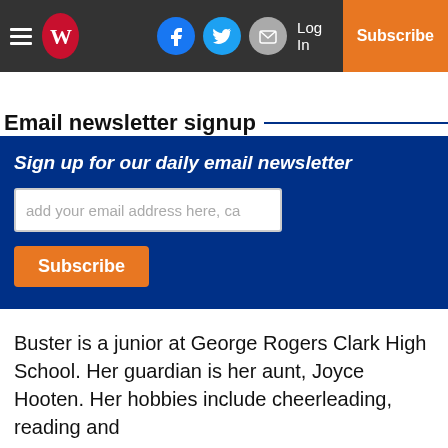W newspaper header with hamburger menu, logo, Facebook, Twitter, Email icons, Log In, Subscribe
Email newsletter signup
[Figure (infographic): Blue newsletter signup box with italic bold heading 'Sign up for our daily email newsletter', an email input field, and an orange Subscribe button]
Buster is a junior at George Rogers Clark High School. Her guardian is her aunt, Joyce Hooten. Her hobbies include cheerleading, reading and